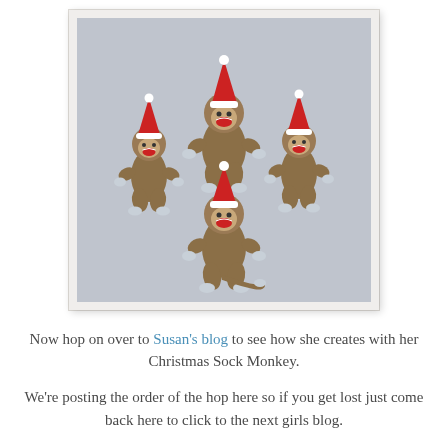[Figure (photo): Four sock monkey figurines wearing red and white Santa hats, arranged on a light blue/grey background. The monkeys are brown with white accents and red lips. The photo is displayed with a white/off-white border and subtle drop shadow.]
Now hop on over to Susan's blog to see how she creates with her Christmas Sock Monkey.
We're posting the order of the hop here so if you get lost just come back here to click to the next girls blog.